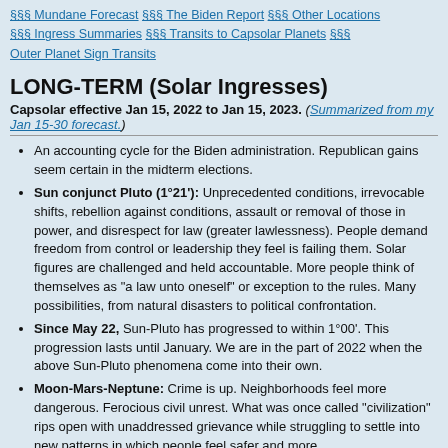§§§ Mundane Forecast §§§ The Biden Report §§§ Other Locations §§§ Ingress Summaries §§§ Transits to Capsolar Planets §§§ Outer Planet Sign Transits
LONG-TERM (Solar Ingresses)
Capsolar effective Jan 15, 2022 to Jan 15, 2023. (Summarized from my Jan 15-30 forecast.)
An accounting cycle for the Biden administration. Republican gains seem certain in the midterm elections.
Sun conjunct Pluto (1°21'): Unprecedented conditions, irrevocable shifts, rebellion against conditions, assault or removal of those in power, and disrespect for law (greater lawlessness). People demand freedom from control or leadership they feel is failing them. Solar figures are challenged and held accountable. More people think of themselves as "a law unto oneself" or exception to the rules. Many possibilities, from natural disasters to political confrontation.
Since May 22, Sun-Pluto has progressed to within 1°00'. This progression lasts until January. We are in the part of 2022 when the above Sun-Pluto phenomena come into their own.
Moon-Mars-Neptune: Crime is up. Neighborhoods feel more dangerous. Ferocious civil unrest. What was once called "civilization" rips open with unaddressed grievance while struggling to settle into new patterns in which people feel safer and more